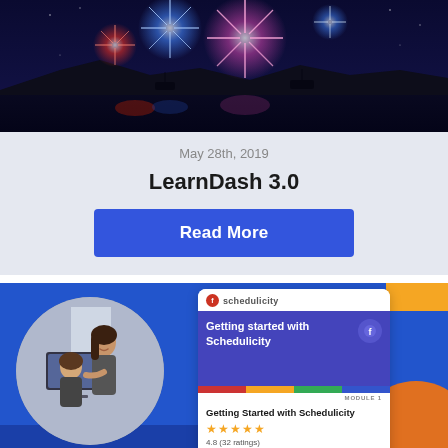[Figure (photo): Fireworks over water at night with reflections, red white and blue colors]
May 28th, 2019
LearnDash 3.0
Read More
[Figure (screenshot): Schedulicity course card showing 'Getting Started with Schedulicity' with 4.8 stars (32 ratings) and 128 students, displayed over a blue background with a circular photo of two women at a computer]